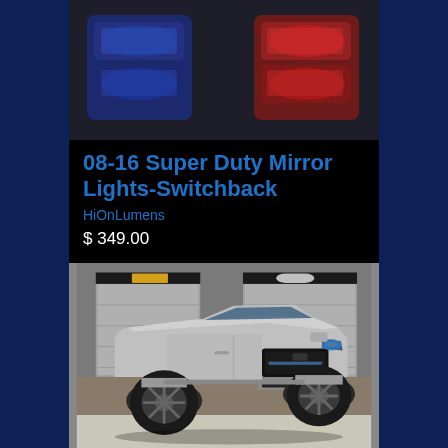[Figure (photo): Product photo of red and blue LED tail lights for Super Duty trucks]
08-16 Super Duty Mirror Lights-Switchback
HiOnLumens
$ 349.00
[Figure (photo): Silver lifted Ram truck with aftermarket LED headlights and large black wheels parked in front of garage doors]